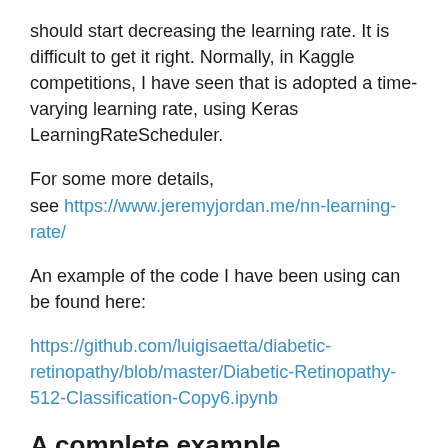should start decreasing the learning rate. It is difficult to get it right. Normally, in Kaggle competitions, I have seen that is adopted a time-varying learning rate, using Keras LearningRateScheduler.
For some more details, see https://www.jeremyjordan.me/nn-learning-rate/
An example of the code I have been using can be found here:
https://github.com/luigisaetta/diabetic-retinopathy/blob/master/Diabetic-Retinopathy-512-Classification-Copy6.ipynb
A complete example.
I have prepared a rather complete example using data from an old competition: Diabetic Retinopathy Detection. You can find the code in one of my Github repositories: https://github.com/luigisaetta/diabetic-